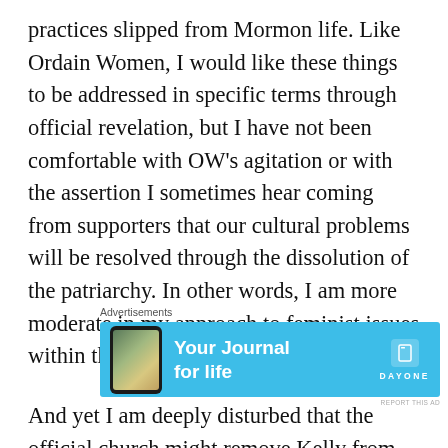practices slipped from Mormon life. Like Ordain Women, I would like these things to be addressed in specific terms through official revelation, but I have not been comfortable with OW's agitation or with the assertion I sometimes hear coming from supporters that our cultural problems will be resolved through the dissolution of the patriarchy. In other words, I am more moderate in my approach to feminist issues within the LDS culture. I'm not alone.
[Figure (other): Advertisement banner for Day One journal app. Light blue background with a phone image on the left, text 'Your Journal for life' in white bold, and the Day One logo/name on the right.]
And yet I am deeply disturbed that the official church might remove Kelly from its records, might nullify the